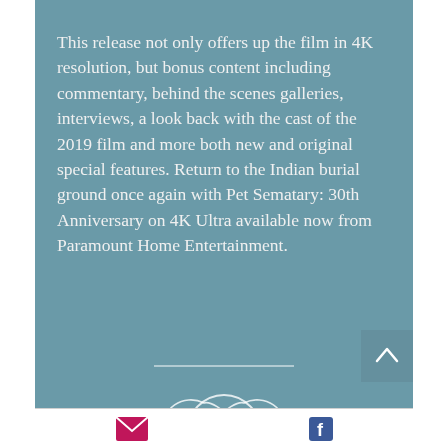This release not only offers up the film in 4K resolution, but bonus content including commentary, behind the scenes galleries, interviews, a look back with the cast of the 2019 film and more both new and original special features. Return to the Indian burial ground once again with Pet Sematary: 30th Anniversary on 4K Ultra available now from Paramount Home Entertainment.
[Figure (illustration): Decorative ornamental flourish / knot design in white, with a horizontal divider line above it]
Email icon and Facebook icon